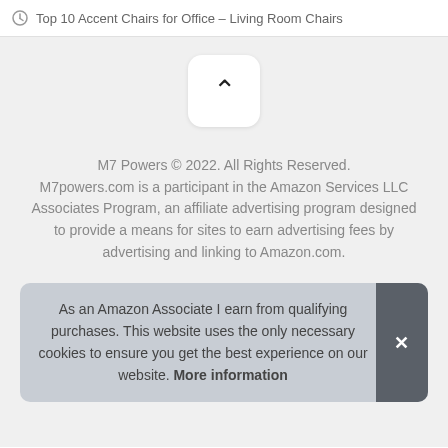Top 10 Accent Chairs for Office – Living Room Chairs
[Figure (other): Scroll-to-top button with upward chevron arrow on light gray background]
M7 Powers © 2022. All Rights Reserved. M7powers.com is a participant in the Amazon Services LLC Associates Program, an affiliate advertising program designed to provide a means for sites to earn advertising fees by advertising and linking to Amazon.com.
As an Amazon Associate I earn from qualifying purchases. This website uses the only necessary cookies to ensure you get the best experience on our website. More information